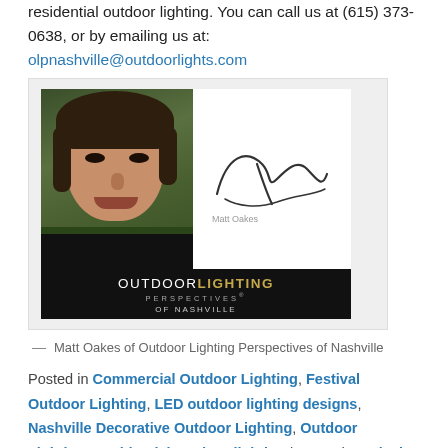residential outdoor lighting. You can call us at (615) 373-0638, or by emailing us at: olpnashville@outdoorlights.com
[Figure (photo): Photo of Matt Oakes with signature and Outdoor Lighting Perspectives of Nashville branding]
— Matt Oakes of Outdoor Lighting Perspectives of Nashville
Posted in Commercial Outdoor Lighting, Festival Outdoor Lighting, LED outdoor lighting designs, Nashville Decorative Outdoor Lighting, Outdoor Lighting, Residential outdoor lighting | Tagged Festival Lighting in the Gulch, lighting design, lighting specialist, Nashville commercial outdoor lighting, Nashville Festival Lighting Featured in the Nashville Post, Nashville festival outdoor